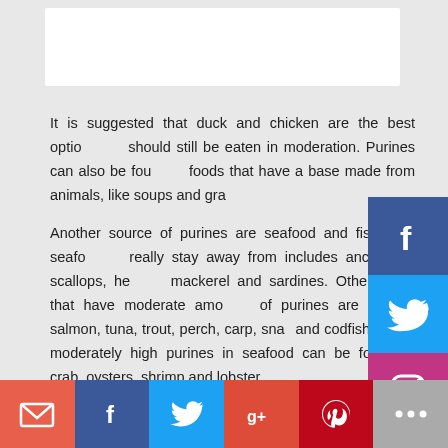[Figure (photo): White rectangular image placeholder at top of page]
It is suggested that duck and chicken are the best options but should still be eaten in moderation. Purines can also be found in foods that have a base made from animals, like soups and gra...
Another source of purines are seafood and fish. The seafood to really stay away from includes anchovies, scallops, herring, mackerel and sardines. Other foods that have moderate amounts of purines are halibut, salmon, tuna, trout, perch, carp, snail and codfish. Other moderately high purines in seafood can be found in crab, oysters, shrimp and lobster.
Refined grains are actually more beneficial to those with gout than whole grains. Whole grains include fortified cereals, whole wheat, oats, barley, quinoa and brown rice. They all have purines and it is a smarter choice to eat refined grains instead.